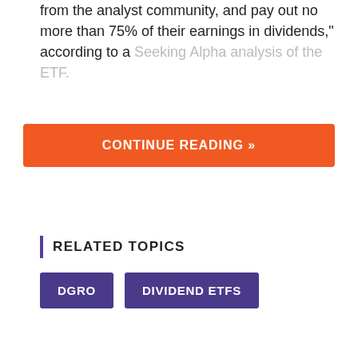from the analyst community, and pay out no more than 75% of their earnings in dividends," according to a Seeking Alpha analysis of the ETF.
CONTINUE READING »
RELATED TOPICS
DGRO
DIVIDEND ETFS